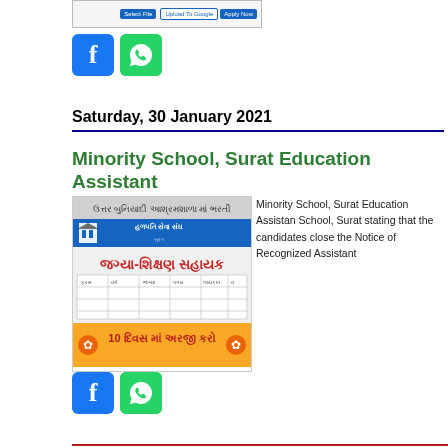[Figure (screenshot): Top screenshot of a web UI with blue buttons]
[Figure (illustration): Facebook and WhatsApp social share icons (top)]
Saturday, 30 January 2021
Minority School, Surat Education Assistant
[Figure (photo): Gujarati language recruitment notice image for Minority School Surat Education Assistant position]
Minority School, Surat Education Assistant School, Surat stating that the candidates close the Notice of Recognized Assistant
[Figure (illustration): Facebook and WhatsApp social share icons (bottom)]